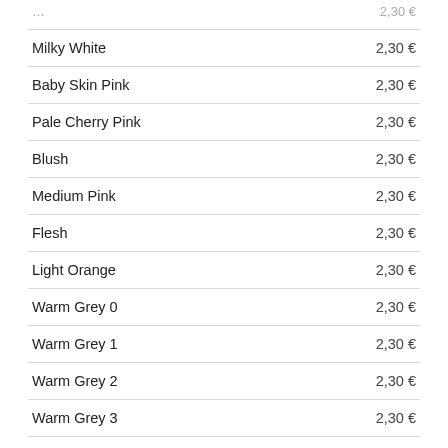| Item | Price |
| --- | --- |
| Milky White | 2,30 € |
| Baby Skin Pink | 2,30 € |
| Pale Cherry Pink | 2,30 € |
| Blush | 2,30 € |
| Medium Pink | 2,30 € |
| Flesh | 2,30 € |
| Light Orange | 2,30 € |
| Warm Grey 0 | 2,30 € |
| Warm Grey 1 | 2,30 € |
| Warm Grey 2 | 2,30 € |
| Warm Grey 3 | 2,30 € |
| Warm Grey 4 | 2,30 € |
| Warm Grey 5 | 2,30 € |
| Warm Grey 6 | 2,30 € |
| Warm Grey 7 | 2,30 € |